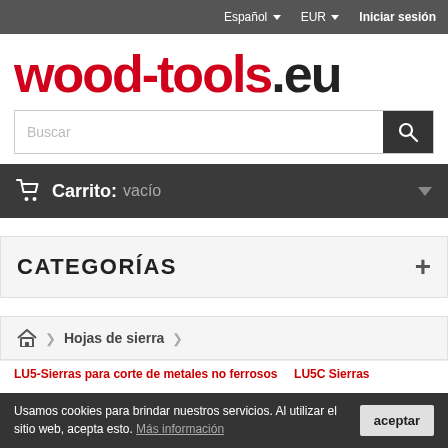Español EUR Iniciar sesión
wood-tools.eu
Buscar
Carrito: vacío
CATEGORÍAS
Hojas de sierra
LU5-Sierras para corte de metales no ferrosos ... LU5C Sierras
Usamos cookies para brindar nuestros servicios. Al utilizar el sitio web, acepta esto. Más información aceptar